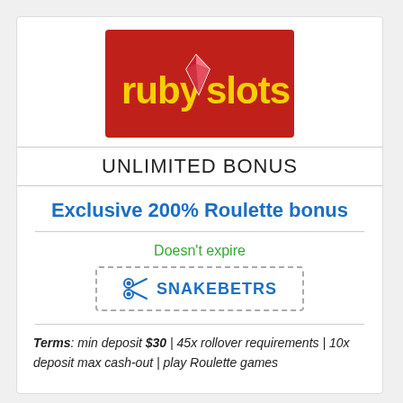[Figure (logo): Ruby Slots casino logo — red background rectangle with yellow 'ruby' text, red diamond gem, and yellow 'slots' text]
UNLIMITED BONUS
Exclusive 200% Roulette bonus
Doesn't expire
SNAKEBETRS
Terms: min deposit $30 | 45x rollover requirements | 10x deposit max cash-out | play Roulette games